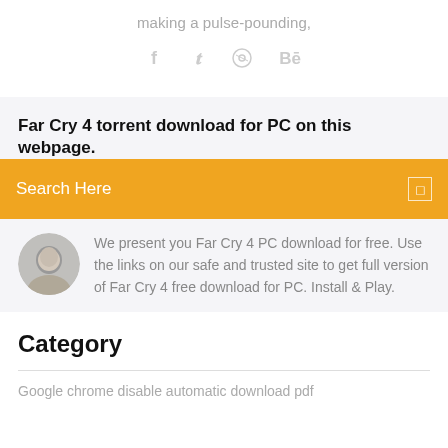making a pulse-pounding,
[Figure (infographic): Social media icons: Facebook (f), Twitter bird, Dribbble, Behance]
Far Cry 4 torrent download for PC on this webpage.
Search Here
We present you Far Cry 4 PC download for free. Use the links on our safe and trusted site to get full version of Far Cry 4 free download for PC. Install & Play.
Category
Google chrome disable automatic download pdf